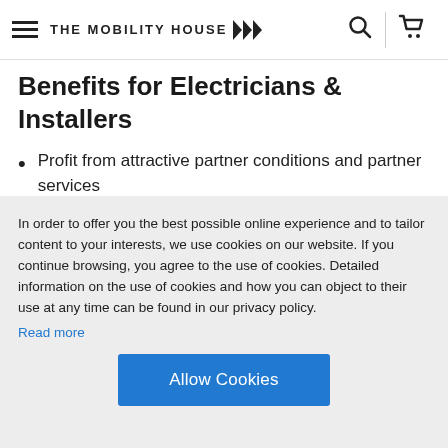THE MOBILITY HOUSE
Benefits for Electricians & Installers
Profit from attractive partner conditions and partner services
Maximum flexibility in procurement and distribution due to a continuously growing number of integrated charging station
In order to offer you the best possible online experience and to tailor content to your interests, we use cookies on our website. If you continue browsing, you agree to the use of cookies. Detailed information on the use of cookies and how you can object to their use at any time can be found in our privacy policy.
Read more
Allow Cookies